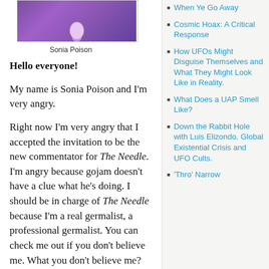[Figure (photo): Photo of Sonia Poison — purple/floral background image with a figure]
Sonia Poison
Hello everyone!
My name is Sonia Poison and I'm very angry.
Right now I'm very angry that I accepted the invitation to be the new commentator for The Needle. I'm angry because gojam doesn't have a clue what he's doing. I should be in charge of The Needle because I'm a real germalist, a professional germalist. You can check me out if you don't believe me. What you don't believe me? Well you're just not checking hard enough! Have you checked the Shoreditch Parish newsletter and my article about trolling ? The editor, Rev Peedribble, said
When Ye Go Away
Cosmic Hoax: A Critical Response
How UFOs Might Disguise Themselves and What They Might Look Like in Reality.
What Does a UAP Smell Like?
Down the Rabbit Hole with Luis Elizondo. Global Existential Crisis and UFO Cults.
'Thro' Narrow